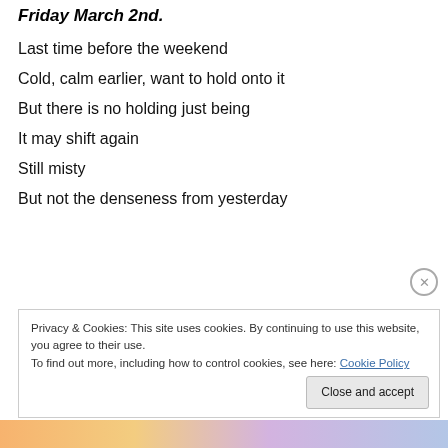Friday March 2nd.
Last time before the weekend
Cold, calm earlier, want to hold onto it
But there is no holding just being
It may shift again
Still misty
But not the denseness from yesterday
Privacy & Cookies: This site uses cookies. By continuing to use this website, you agree to their use.
To find out more, including how to control cookies, see here: Cookie Policy
Close and accept